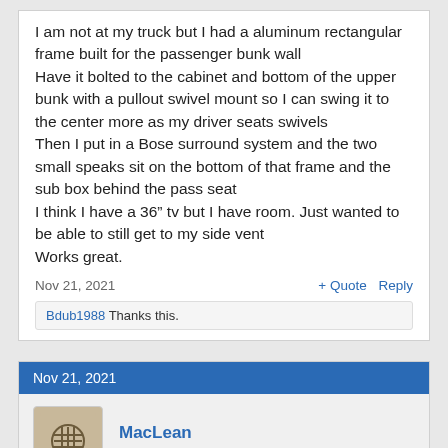I am not at my truck but I had a aluminum rectangular frame built for the passenger bunk wall
Have it bolted to the cabinet and bottom of the upper bunk with a pullout swivel mount so I can swing it to the center more as my driver seats swivels
Then I put in a Bose surround system and the two small speaks sit on the bottom of that frame and the sub box behind the pass seat
I think I have a 36" tv but I have room. Just wanted to be able to still get to my side vent
Works great.
Nov 21, 2021
+ Quote  Reply
Bdub1988 Thanks this.
Nov 21, 2021
MacLean
Heavy Load Member